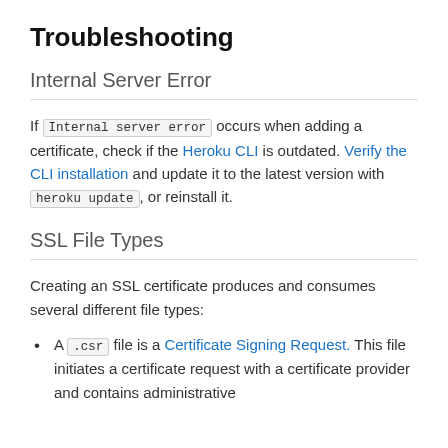Troubleshooting
Internal Server Error
If Internal server error occurs when adding a certificate, check if the Heroku CLI is outdated. Verify the CLI installation and update it to the latest version with heroku update, or reinstall it.
SSL File Types
Creating an SSL certificate produces and consumes several different file types:
A .csr file is a Certificate Signing Request. This file initiates a certificate request with a certificate provider and contains administrative